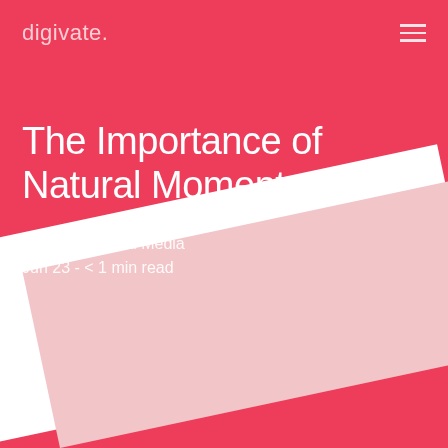digivate.
The Importance of Natural Momentum
Posted in Social Media
Jun 23 - < 1 min read
[Figure (illustration): Diagonal geometric background shapes in white and light pink on red background, partially visible at bottom of page]